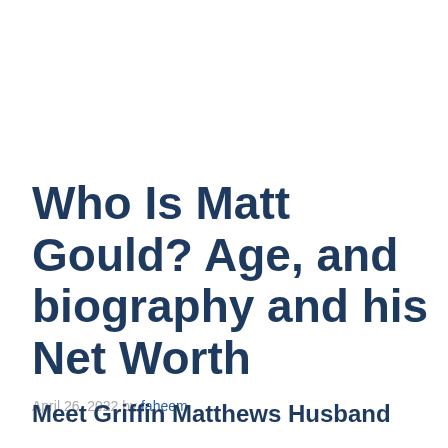Who Is Matt Gould? Age, and biography and his Net Worth
April 26, 2022 by faheem
Meet Griffin Matthews Husband